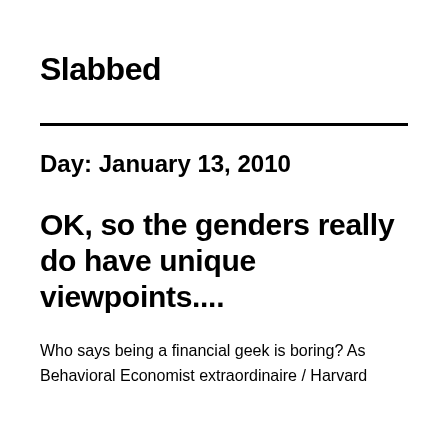Slabbed
Day: January 13, 2010
OK, so the genders really do have unique viewpoints....
Who says being a financial geek is boring? As Behavioral Economist extraordinaire / Harvard